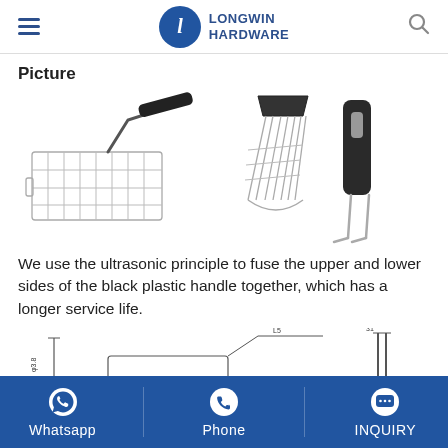Longwin Hardware
Picture
[Figure (photo): Three product images: a wire mesh frying basket with black handle, a wire pasta insert with black handle (view from above), and a black plastic handle with two metal prongs (hook tool).]
We use the ultrasonic principle to fuse the upper and lower sides of the black plastic handle together, which has a longer service life.
[Figure (engineering-diagram): Technical engineering line drawings showing dimensions of the wire basket and handle components, with measurements labeled in millimeters (e.g., φ3.8, L5).]
Whatsapp  Phone  INQUIRY